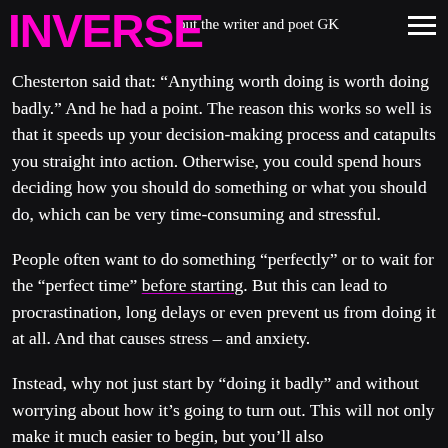INVERSE
but the writer and poet GK Chesterton said that: “Anything worth doing is worth doing badly.” And he had a point. The reason this works so well is that it speeds up your decision-making process and catapults you straight into action. Otherwise, you could spend hours deciding how you should do something or what you should do, which can be very time-consuming and stressful.
People often want to do something “perfectly” or to wait for the “perfect time” before starting. But this can lead to procrastination, long delays or even prevent us from doing it at all. And that causes stress – and anxiety.
Instead, why not just start by “doing it badly” and without worrying about how it’s going to turn out. This will not only make it much easier to begin, but you’ll also